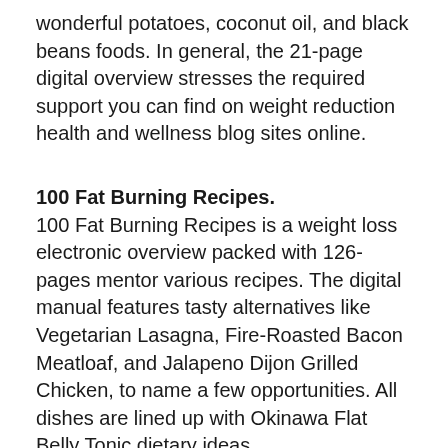wonderful potatoes, coconut oil, and black beans foods. In general, the 21-page digital overview stresses the required support you can find on weight reduction health and wellness blog sites online.
100 Fat Burning Recipes.
100 Fat Burning Recipes is a weight loss electronic overview packed with 126-pages mentor various recipes. The digital manual features tasty alternatives like Vegetarian Lasagna, Fire-Roasted Bacon Meatloaf, and Jalapeno Dijon Grilled Chicken, to name a few opportunities. All dishes are lined up with Okinawa Flat Belly Tonic dietary ideas.
Energy Boosting Smoothies.
The Energy Boosting Smoothies digital